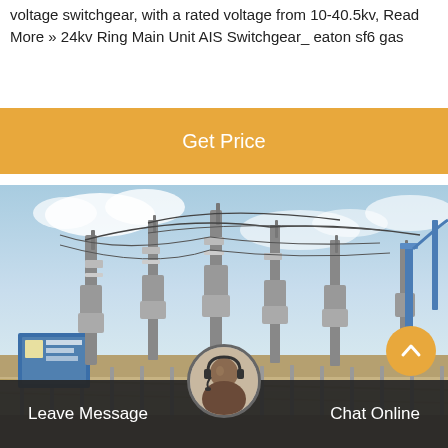voltage switchgear, with a rated voltage from 10-40.5kv, Read More » 24kv Ring Main Unit AIS Switchgear_ eaton sf6 gas
[Figure (other): Orange 'Get Price' button bar]
[Figure (photo): Outdoor electrical substation with high-voltage switchgear towers, overhead lines, metal fencing, and informational signage under a partly cloudy sky]
Leave Message
Chat Online